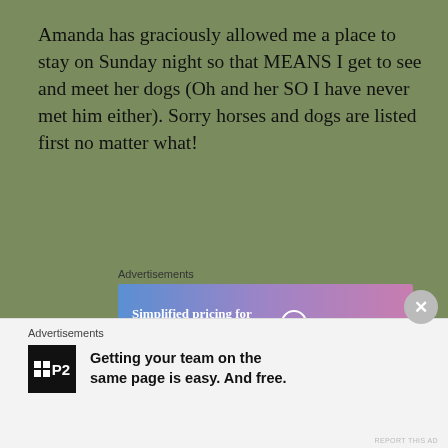Amanda has graciously allowed me a place to stay on Sunday night so that MEANS I get to see and meet her dogs (Oh and her SO I have never met him either). Sorry horses and dogs are listed first no matter what!
Advertisements
[Figure (screenshot): WordPress.com advertisement banner: blue to pink gradient background with text 'Simplified pricing for everything you need.' and WordPress.com logo on right]
Monday we were GOING to see Presto (BOO HOO he is back under Michelle's watch which is great but means he is way too far for me to see this time!). So now I kind of have
[Figure (photo): Partial meme image showing the word WORK in large bold white letters with dark background, partially visible at bottom]
Advertisements
[Figure (screenshot): P2 advertisement: black logo with grid icon and P2 text, tagline 'Getting your team on the same page is easy. And free.']